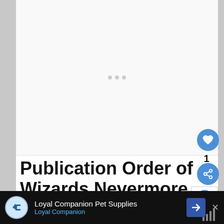[Figure (other): Mostly white/light grey image placeholder area with three small grey loading dots centered in the upper portion of the page]
Publication Order of Wizards Nevermore Books
| Title | Year | Link |
| --- | --- | --- |
| Never Again | (2011) | BOOK AT AMAZON |
| Now or Never | (2012) | BOOK AT AMAZON |
[Figure (screenshot): Advertisement bar at bottom: Loyal Companion Pet Supplies ad with logo, blue arrow button, and close X button on dark background]